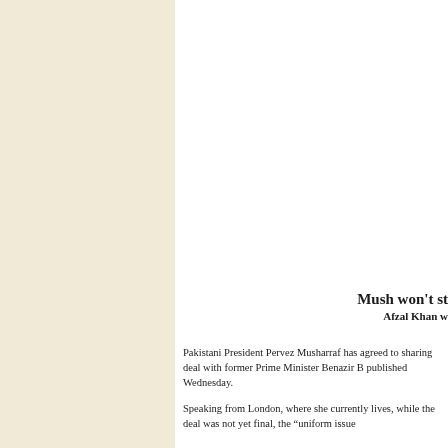Mush won't st
Afzal Khan w
Pakistani President Pervez Musharraf has agreed to sharing deal with former Prime Minister Benazir B published Wednesday.
Speaking from London, where she currently lives, while the deal was not yet final, the “uniform issue